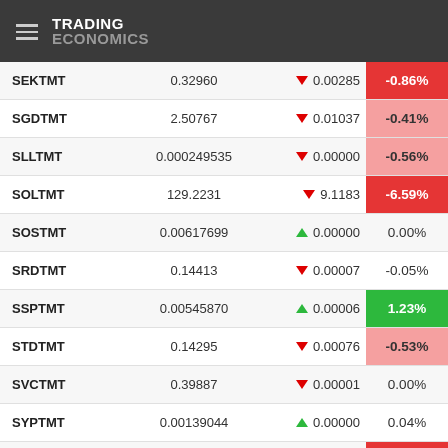TRADING ECONOMICS
| Symbol | Value | Change | % Change |
| --- | --- | --- | --- |
| SEKTMT | 0.32960 | ▼ 0.00285 | -0.86% |
| SGDTMT | 2.50767 | ▼ 0.01037 | -0.41% |
| SLLTMT | 0.000249535 | ▼ 0.00000 | -0.56% |
| SOLTMT | 129.2231 | ▼ 9.1183 | -6.59% |
| SOSTMT | 0.00617699 | ▲ 0.00000 | 0.00% |
| SRDTMT | 0.14413 | ▼ 0.00007 | -0.05% |
| SSPTMT | 0.00545870 | ▲ 0.00006 | 1.23% |
| STDTMT | 0.14295 | ▼ 0.00076 | -0.53% |
| SVCTMT | 0.39887 | ▼ 0.00001 | 0.00% |
| SYPTMT | 0.00139044 | ▲ 0.00000 | 0.04% |
| SZLTMT | 0.20527 | ▼ 0.00177 | -0.85% |